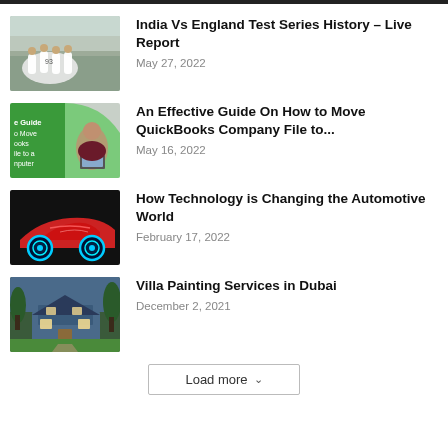[Figure (photo): Cricket players in white uniforms huddled together on a field]
India Vs England Test Series History – Live Report
May 27, 2022
[Figure (photo): Woman looking at a laptop, green background with text about QuickBooks guide]
An Effective Guide On How to Move QuickBooks Company File to...
May 16, 2022
[Figure (photo): Red sports car with glowing wheels on dark background]
How Technology is Changing the Automotive World
February 17, 2022
[Figure (photo): Blue house with green lawn and trees at dusk]
Villa Painting Services in Dubai
December 2, 2021
Load more